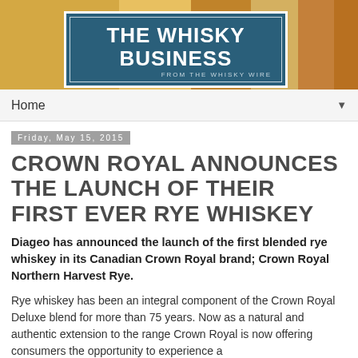[Figure (logo): The Whisky Business banner/logo with colorful bottle background and blue rectangle containing white bold text 'THE WHISKY BUSINESS' with subtitle 'FROM THE WHISKY WIRE']
Home ▼
Friday, May 15, 2015
CROWN ROYAL ANNOUNCES THE LAUNCH OF THEIR FIRST EVER RYE WHISKEY
Diageo has announced the launch of the first blended rye whiskey in its Canadian Crown Royal brand; Crown Royal Northern Harvest Rye.
Rye whiskey has been an integral component of the Crown Royal Deluxe blend for more than 75 years. Now as a natural and authentic extension to the range Crown Royal is now offering consumers the opportunity to experience a